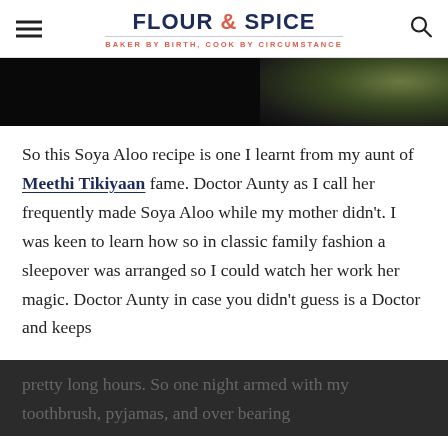FLOUR & SPICE — BAKER BY BIRTH, COOK BY CIRCUMSTANCE
[Figure (photo): Dark photograph strip showing a dimly lit scene with dark background on left and slight greenish light on right]
So this Soya Aloo recipe is one I learnt from my aunt of Meethi Tikiyaan fame. Doctor Aunty as I call her frequently made Soya Aloo while my mother didn't. I was keen to learn how so in classic family fashion a sleepover was arranged so I could watch her work her magic. Doctor Aunty in case you didn't guess is a Doctor and keeps pretty long hours. So one night armed with my toothbrush, pyjamas, and over-bearing...